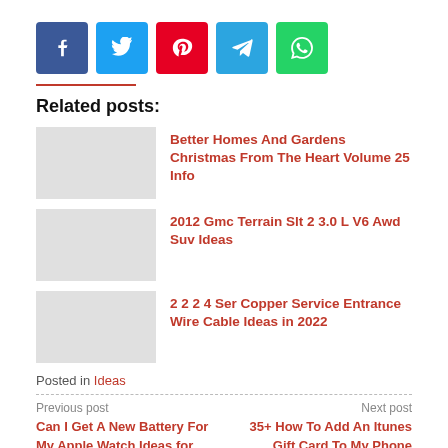[Figure (other): Social share buttons: Facebook, Twitter, Pinterest, Telegram, WhatsApp]
Related posts:
Better Homes And Gardens Christmas From The Heart Volume 25 Info
2012 Gmc Terrain Slt 2 3.0 L V6 Awd Suv Ideas
2 2 2 4 Ser Copper Service Entrance Wire Cable Ideas in 2022
Posted in Ideas
Previous post
Can I Get A New Battery For My Apple Watch Ideas for You
Next post
35+ How To Add An Itunes Gift Card To My Phone Download